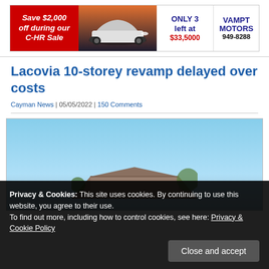[Figure (advertisement): Car dealership ad: Save $2,000 off during our C-HR Sale | ONLY 3 left at $33,5000 | VAMPT MOTORS 949-8288]
Lacovia 10-storey revamp delayed over costs
Cayman News | 05/05/2022 | 150 Comments
[Figure (photo): Photograph of a building rooftop against a blue sky]
Privacy & Cookies: This site uses cookies. By continuing to use this website, you agree to their use.
To find out more, including how to control cookies, see here: Privacy & Cookie Policy